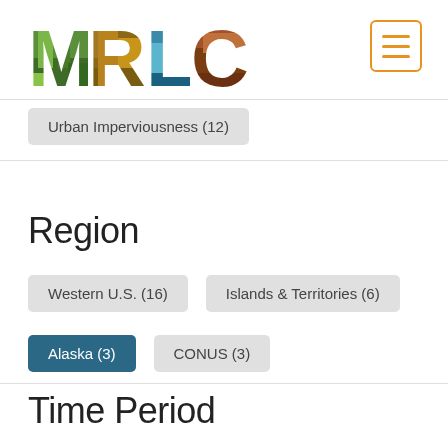[Figure (logo): MRLC logo with nature-textured letters M R L C]
Urban Imperviousness (12)
Region
Western U.S. (16)
Islands & Territories (6)
Alaska (3)
CONUS (3)
Time Period